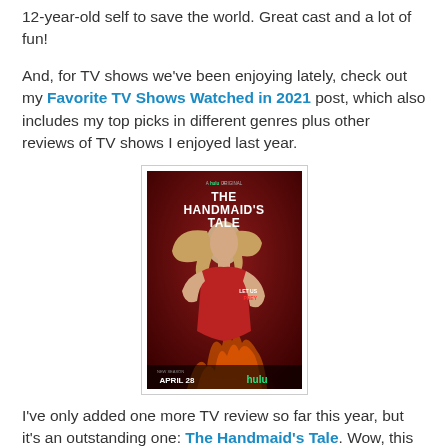12-year-old self to save the world. Great cast and a lot of fun!
And, for TV shows we've been enjoying lately, check out my Favorite TV Shows Watched in 2021 post, which also includes my top picks in different genres plus other reviews of TV shows I enjoyed last year.
[Figure (photo): Movie/TV show poster for 'The Handmaid's Tale', a Hulu Original. Shows a woman in red with long blonde hair, text reads 'LET US PREY', and 'APRIL 28 hulu' at the bottom.]
I've only added one more TV review so far this year, but it's an outstanding one: The Handmaid's Tale. Wow, this show has totally blown both my husband and I away! Drama, action, a horrific dystopian world, and a fierce heroine to